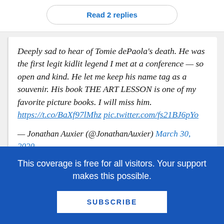Read 2 replies
Deeply sad to hear of Tomie dePaola's death. He was the first legit kidlit legend I met at a conference — so open and kind. He let me keep his name tag as a souvenir. His book THE ART LESSON is one of my favorite picture books. I will miss him. https://t.co/BaXf97lMhz pic.twitter.com/fs21BJ6pYo
— Jonathan Auxier (@JonathanAuxier) March 30, 2020
This coverage is free for all visitors. Your support makes this possible.
SUBSCRIBE